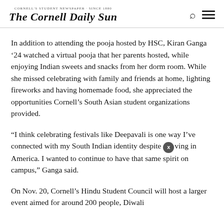The Cornell Daily Sun
In addition to attending the pooja hosted by HSC, Kiran Ganga ’24 watched a virtual pooja that her parents hosted, while enjoying Indian sweets and snacks from her dorm room. While she missed celebrating with family and friends at home, lighting fireworks and having homemade food, she appreciated the opportunities Cornell’s South Asian student organizations provided.
“I think celebrating festivals like Deepavali is one way I’ve connected with my South Indian identity despite living in America. I wanted to continue to have that same spirit on campus,” Ganga said.
On Nov. 20, Cornell’s Hindu Student Council will host a larger event aimed for around 200 people, Diwali